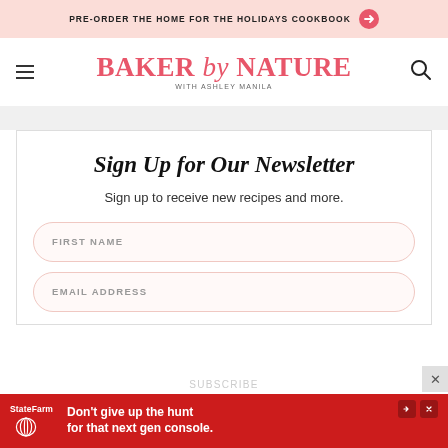PRE-ORDER THE HOME FOR THE HOLIDAYS COOKBOOK
[Figure (logo): Baker by Nature with Ashley Manila logo in pink/red serif font]
Sign Up for Our Newsletter
Sign up to receive new recipes and more.
FIRST NAME
EMAIL ADDRESS
[Figure (screenshot): State Farm advertisement banner: "Don't give up the hunt for that next gen console." in red background]